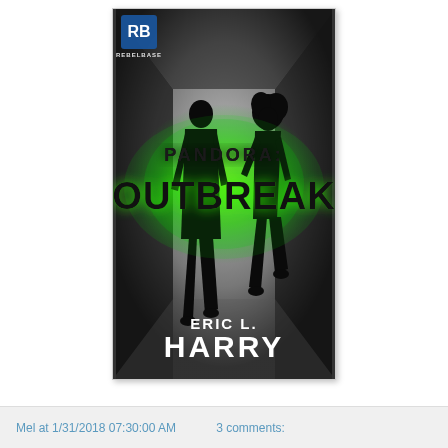[Figure (illustration): Book cover for 'Pandora: Outbreak' by Eric L. Harry. Dark grayscale tunnel scene with two silhouetted figures (man and woman) running toward light. Large green glowing text reads 'PANDORA: OUTBREAK'. Author name 'ERIC L. HARRY' at bottom in white. Rebel Base publisher logo in top left corner.]
Mel at 1/31/2018 07:30:00 AM    3 comments: